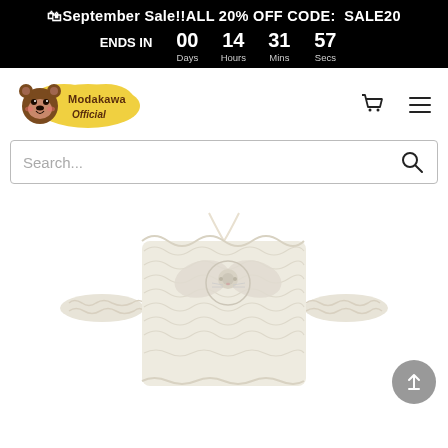🛍September Sale!!ALL 20% OFF CODE:  SALE20  ENDS IN   00   14   31   57   Days   Hours   Mins   Secs
[Figure (logo): Modakawa Official bear logo with yellow cloud background and brown bear face]
Search...
[Figure (photo): Cream/ivory colored ruffled bandeau crop top with bow detail on a white background]